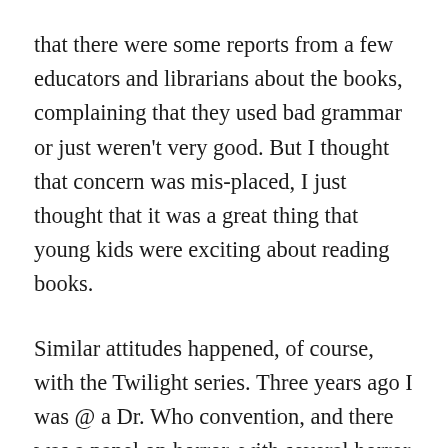that there were some reports from a few educators and librarians about the books, complaining that they used bad grammar or just weren't very good. But I thought that concern was mis-placed, I just thought that it was a great thing that young kids were exciting about reading books.
Similar attitudes happened, of course, with the Twilight series. Three years ago I was @ a Dr. Who convention, and there was a panel on horror, with several horror novelist and writers on the stage, and it seemed like everyone wanted to hate on the Twilight books. "Real